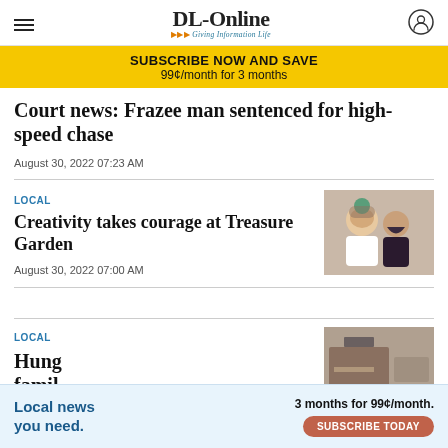DL-Online Giving Information Life
SUBSCRIBE NOW AND SAVE
99¢/month for 3 months
Court news: Frazee man sentenced for high-speed chase
August 30, 2022 07:23 AM
LOCAL
Creativity takes courage at Treasure Garden
August 30, 2022 07:00 AM
[Figure (photo): Two women smiling, one with a floral headpiece]
LOCAL
Hung family assistance
[Figure (photo): Bottom ad: Local news you need. 3 months for 99¢/month. SUBSCRIBE TODAY]
Local news you need. 3 months for 99¢/month. SUBSCRIBE TODAY